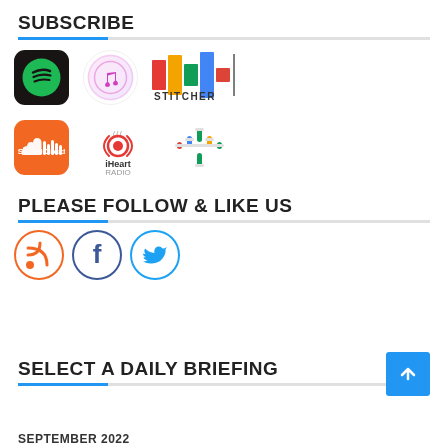SUBSCRIBE
[Figure (logo): Podcast subscription platform logos: Spotify, Apple Podcasts (iTunes), Stitcher, SoundCloud, iHeartRadio, Google Podcasts]
PLEASE FOLLOW & LIKE US
[Figure (logo): Social media icons: RSS feed (orange circle), Facebook (dark circle with f), Twitter (light blue circle with bird)]
SELECT A DAILY BRIEFING
SEPTEMBER 2022